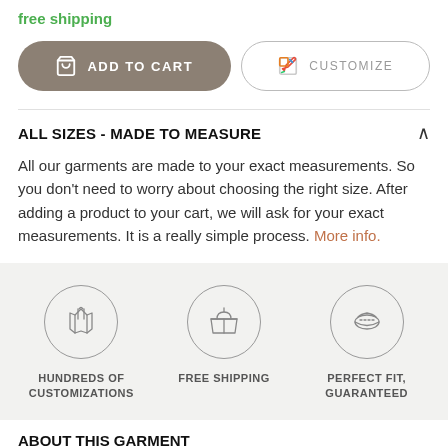free shipping
[Figure (other): Two buttons: ADD TO CART (dark taupe pill button with cart icon) and CUSTOMIZE (outlined pill button with colorful edit icon)]
ALL SIZES - MADE TO MEASURE
All our garments are made to your exact measurements. So you don't need to worry about choosing the right size. After adding a product to your cart, we will ask for your exact measurements. It is a really simple process. More info.
[Figure (infographic): Three icons in circles on grey background: garment/customizations icon labeled HUNDREDS OF CUSTOMIZATIONS, box icon labeled FREE SHIPPING, tape measure icon labeled PERFECT FIT, GUARANTEED]
ABOUT THIS GARMENT